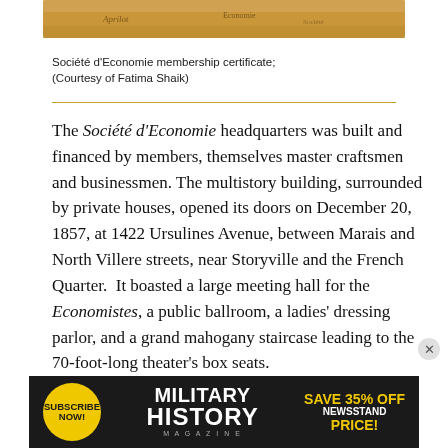[Figure (photo): Top portion of a Société d'Economie membership certificate on aged tan/gold paper with handwritten text]
Société d'Economie membership certificate; (Courtesy of Fatima Shaik)
The Société d'Economie headquarters was built and financed by members, themselves master craftsmen and businessmen. The multistory building, surrounded by private houses, opened its doors on December 20, 1857, at 1422 Ursulines Avenue, between Marais and North Villere streets, near Storyville and the French Quarter.  It boasted a large meeting hall for the Economistes, a public ballroom, a ladies' dressing parlor, and a grand mahogany staircase leading to the 70-foot-long theater's box seats.
[Figure (infographic): Advertisement banner: Military History Magazine subscription offer — Subscribe Now!, Save 35% Off Newsstand Price!]